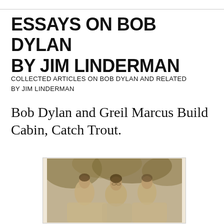ESSAYS ON BOB DYLAN BY JIM LINDERMAN
COLLECTED ARTICLES ON BOB DYLAN AND RELATED BY JIM LINDERMAN
Bob Dylan and Greil Marcus Build Cabin, Catch Trout.
[Figure (photo): Sepia-toned vintage photograph of three people (likely young women) sitting together, wearing light-colored clothing, with foliage in the background.]